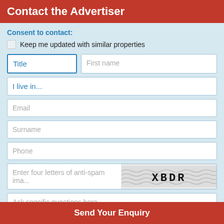Contact the Advertiser
Consent to contact:
Keep me updated with similar properties
Title
First name
I live in...
Email
Surname
Phone
Enter four letters of anti-spam image
[Figure (other): CAPTCHA image showing letters XBDR with wavy background pattern]
Ask specific questions here...
Send Your Enquiry